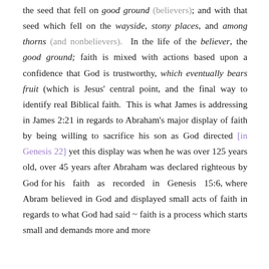the seed that fell on good ground (believers); and with that seed which fell on the wayside, stony places, and among thorns (and nonbelievers). In the life of the believer, the good ground; faith is mixed with actions based upon a confidence that God is trustworthy, which eventually bears fruit (which is Jesus' central point, and the final way to identify real Biblical faith. This is what James is addressing in James 2:21 in regards to Abraham's major display of faith by being willing to sacrifice his son as God directed [in Genesis 22] yet this display was when he was over 125 years old, over 45 years after Abraham was declared righteous by God for his faith as recorded in Genesis 15:6, where Abram believed in God and displayed small acts of faith in regards to what God had said ~ faith is a process which starts small and demands more and more